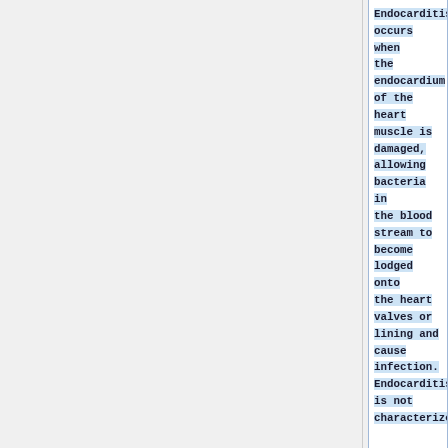Endocarditis occurs when the endocardium of the heart muscle is damaged, allowing bacteria in the blood stream to become lodged onto the heart valves or lining and cause infection. Endocarditis is not characterize